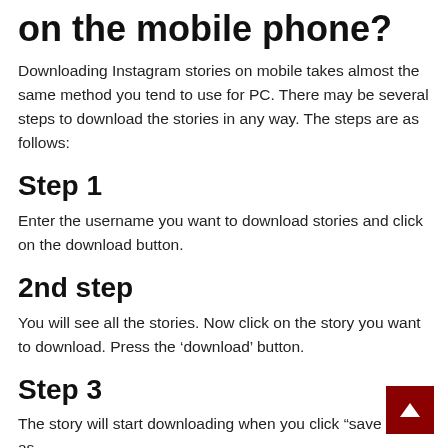on the mobile phone?
Downloading Instagram stories on mobile takes almost the same method you tend to use for PC. There may be several steps to download the stories in any way. The steps are as follows:
Step 1
Enter the username you want to download stories and click on the download button.
2nd step
You will see all the stories. Now click on the story you want to download. Press the ‘download’ button.
Step 3
The story will start downloading when you click “save video as...